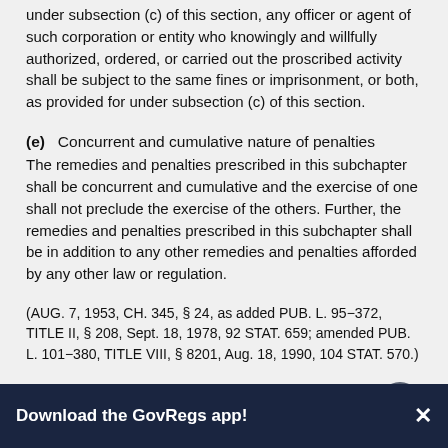under subsection (c) of this section, any officer or agent of such corporation or entity who knowingly and willfully authorized, ordered, or carried out the proscribed activity shall be subject to the same fines or imprisonment, or both, as provided for under subsection (c) of this section.
(e)  Concurrent and cumulative nature of penalties
The remedies and penalties prescribed in this subchapter shall be concurrent and cumulative and the exercise of one shall not preclude the exercise of the others. Further, the remedies and penalties prescribed in this subchapter shall be in addition to any other remedies and penalties afforded by any other law or regulation.
(AUG. 7, 1953, CH. 345, § 24, as added PUB. L. 95-372, TITLE II, § 208, Sept. 18, 1978, 92 STAT. 659; amended PUB. L. 101-380, TITLE VIII, § 8201, Aug. 18, 1990, 104 STAT. 570.)
CITE AS: 43 USC 1350
Download the GovRegs app!